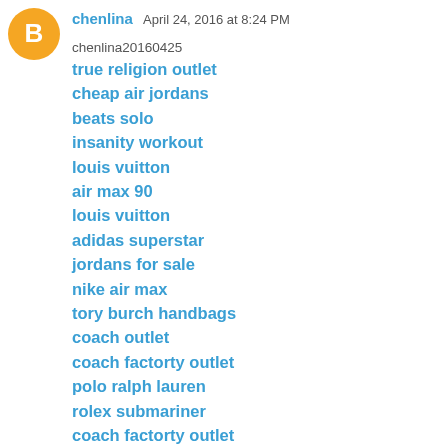[Figure (illustration): Blogger avatar icon — orange circle with white B letter]
chenlina  April 24, 2016 at 8:24 PM
chenlina20160425
true religion outlet
cheap air jordans
beats solo
insanity workout
louis vuitton
air max 90
louis vuitton
adidas superstar
jordans for sale
nike air max
tory burch handbags
coach outlet
coach factorty outlet
polo ralph lauren
rolex submariner
coach factorty outlet
nfl jerseys wholesale
polo ralph lauren
christian louboutin shoes
coach outlet